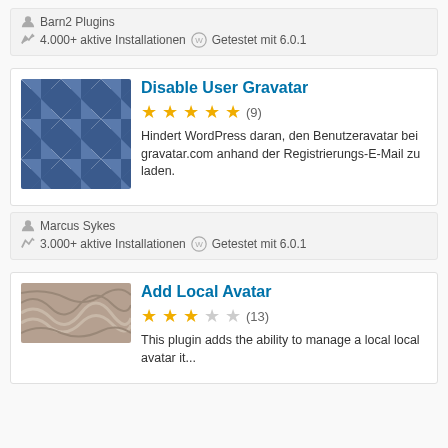Barn2 Plugins
4.000+ aktive Installationen  Getestet mit 6.0.1
Disable User Gravatar
[Figure (illustration): Blue geometric diamond pattern plugin icon]
★★★★★ (9)
Hindert WordPress daran, den Benutzeravatar bei gravatar.com anhand der Registrierungs-E-Mail zu laden.
Marcus Sykes
3.000+ aktive Installationen  Getestet mit 6.0.1
Add Local Avatar
[Figure (illustration): Brown wavy texture plugin icon]
★★★☆☆ (13)
This plugin adds the ability to manage a local local avatar it...